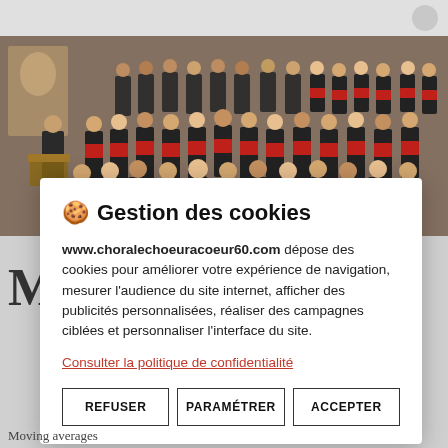[Figure (photo): Group photo of a choir ensemble in formal attire with red scarves, arranged in rows inside a church-like venue, with a conductor at a lectern on the left.]
🍪 Gestion des cookies
www.choralechoeuracoeur60.com dépose des cookies pour améliorer votre expérience de navigation, mesurer l'audience du site internet, afficher des publicités personnalisées, réaliser des campagnes ciblées et personnaliser l'interface du site.
Consulter la politique de confidentialité
REFUSER   PARAMÉTRER   ACCEPTER
Moving averages